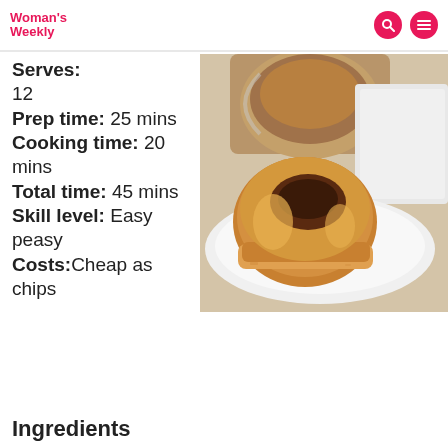Woman's Weekly
Serves: 12
Prep time: 25 mins
Cooking time: 20 mins
Total time: 45 mins
Skill level: Easy peasy
Costs: Cheap as chips
[Figure (photo): A golden pastry tart with dark filling on a white plate, next to a glass mug of coffee with a white napkin in the background.]
Ingredients